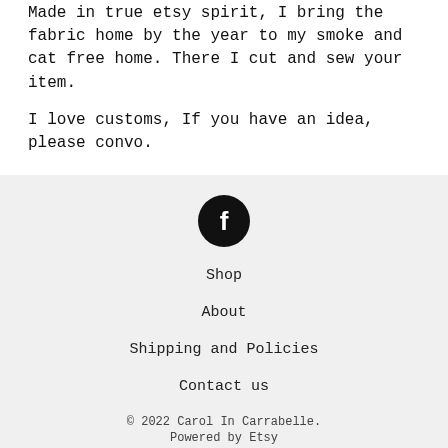Made in true etsy spirit, I bring the fabric home by the year to my smoke and cat free home. There I cut and sew your item.
I love customs, If you have an idea, please convo.
[Figure (logo): Facebook icon — black circle with white 'f' logo]
Shop
About
Shipping and Policies
Contact us
© 2022 Carol In Carrabelle.
Powered by Etsy